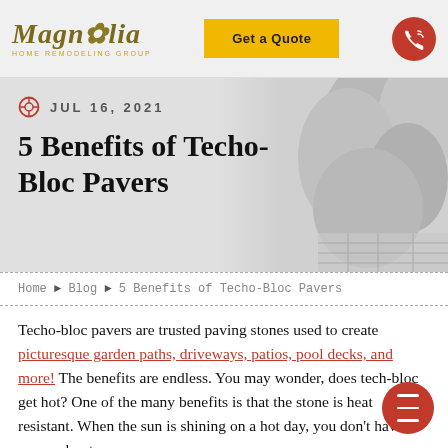Magnolia Home Remodeling Group — Get a Quote
JUL 16, 2021
5 Benefits of Techo-Bloc Pavers
Home ▶ Blog ▶ 5 Benefits of Techo-Bloc Pavers
Techo-bloc pavers are trusted paving stones used to create picturesque garden paths, driveways, patios, pool decks, and more! The benefits are endless. You may wonder, does tech-bloc get hot? One of the many benefits is that the stone is heat resistant. When the sun is shining on a hot day, you don't have to worry about your